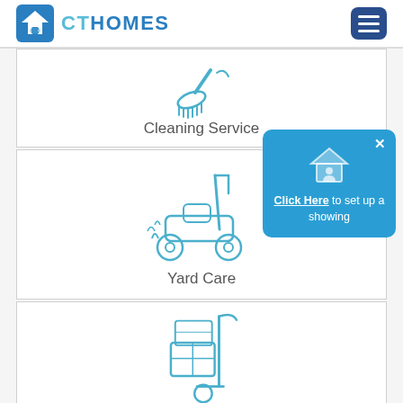CT HOMES
[Figure (screenshot): Website screenshot showing CT Homes service cards with icons for Cleaning Service, Yard Care, and a partially visible moving service card. A blue popup overlay says 'Click Here to set up a showing'.]
Cleaning Service
Yard Care
Click Here to set up a showing